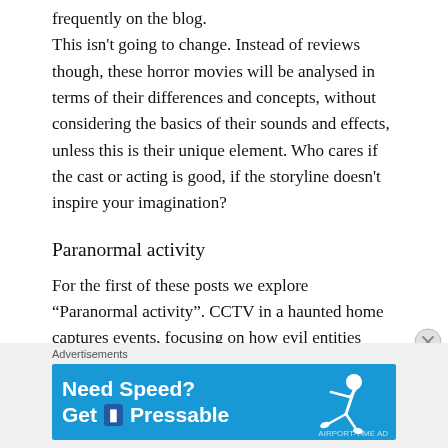frequently on the blog. This isn't going to change. Instead of reviews though, these horror movies will be analysed in terms of their differences and concepts, without considering the basics of their sounds and effects, unless this is their unique element. Who cares if the cast or acting is good, if the storyline doesn't inspire your imagination?
Paranormal activity
For the first of these posts we explore “Paranormal activity”. CCTV in a haunted home captures events, focusing on how evil entities affect the inhabitants lives. The first 2 films I
[Figure (other): Advertisement banner: 'Need Speed? Get Pressable' with a person flying/running on a blue background. Label: Advertisements]
Advertisements